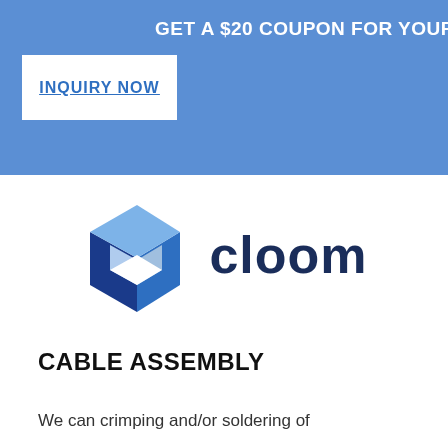GET A $20 COUPON FOR YOUR ORDER
INQUIRY NOW
[Figure (logo): Cloom logo: a blue 3D cube-like 'C' shape with light blue and dark blue facets, next to the word 'cloom' in dark navy bold text]
CABLE ASSEMBLY
We can crimping and/or soldering of